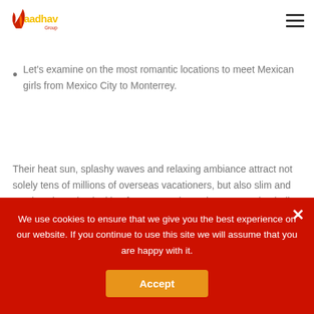Aadhav Group logo and navigation
confidence and dependable recommendations.
Let's examine on the most romantic locations to meet Mexican girls from Mexico City to Monterrey.
Their heat sun, splashy waves and relaxing ambiance attract not solely tens of millions of overseas vacationers, but also slim and gracious beauties looking for a romantic rendezvous. Latino ladies are accustomed to men's attention, nonetheless not all the time this sympathy is
We use cookies to ensure that we give you the best experience on our website. If you continue to use this site we will assume that you are happy with it.
Accept